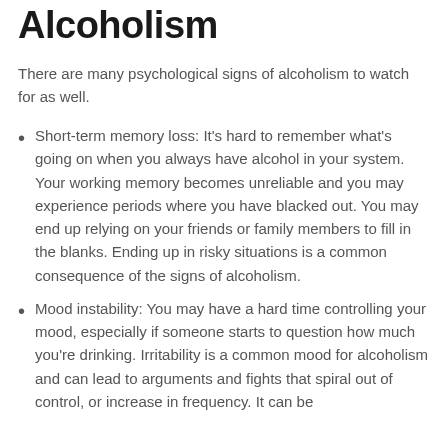Alcoholism
There are many psychological signs of alcoholism to watch for as well.
Short-term memory loss: It's hard to remember what's going on when you always have alcohol in your system. Your working memory becomes unreliable and you may experience periods where you have blacked out. You may end up relying on your friends or family members to fill in the blanks. Ending up in risky situations is a common consequence of the signs of alcoholism.
Mood instability: You may have a hard time controlling your mood, especially if someone starts to question how much you're drinking. Irritability is a common mood for alcoholism and can lead to arguments and fights that spiral out of control, or increase in frequency. It can be